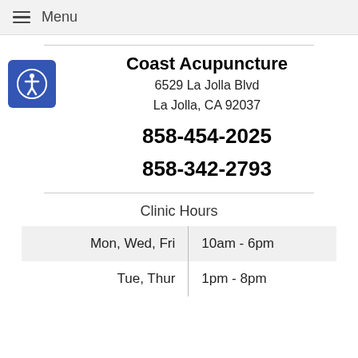Menu
Coast Acupuncture
6529 La Jolla Blvd
La Jolla, CA 92037
858-454-2025
858-342-2793
Clinic Hours
| Day | Hours |
| --- | --- |
| Mon, Wed, Fri | 10am - 6pm |
| Tue, Thur | 1pm - 8pm |